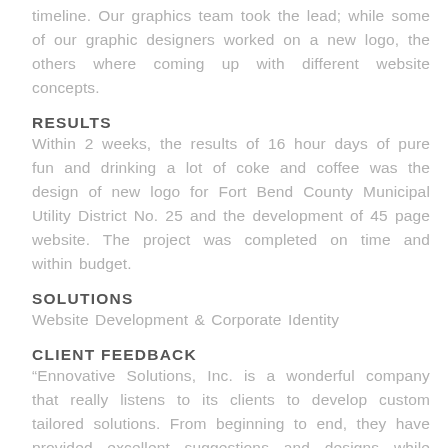timeline. Our graphics team took the lead; while some of our graphic designers worked on a new logo, the others where coming up with different website concepts.
RESULTS
Within 2 weeks, the results of 16 hour days of pure fun and drinking a lot of coke and coffee was the design of new logo for Fort Bend County Municipal Utility District No. 25 and the development of 45 page website. The project was completed on time and within budget.
SOLUTIONS
Website Development & Corporate Identity
CLIENT FEEDBACK
“Ennovative Solutions, Inc. is a wonderful company that really listens to its clients to develop custom tailored solutions. From beginning to end, they have provided excellent suggestions and designs while maintaining